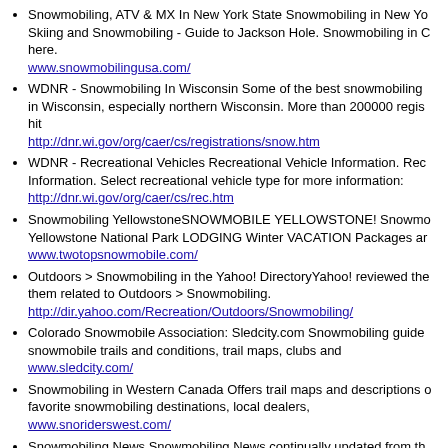Snowmobiling, ATV & MX In New York State Snowmobiling in New York State. Skiing and Snowmobiling - Guide to Jackson Hole. Snowmobiling in California here.
www.snowmobilingusa.com/
WDNR - Snowmobiling In Wisconsin Some of the best snowmobiling in Wisconsin, especially northern Wisconsin. More than 200000 regis hit
http://dnr.wi.gov/org/caer/cs/registrations/snow.htm
WDNR - Recreational Vehicles Recreational Vehicle Information. Recreational Vehicle Information. Select recreational vehicle type for more information:
http://dnr.wi.gov/org/caer/cs/rec.htm
Snowmobiling YellowstoneSNOWMOBILE YELLOWSTONE! Snowmobiling Yellowstone National Park LODGING Winter VACATION Packages and
www.twotopsnowmobile.com/
Outdoors > Snowmobiling in the Yahoo! DirectoryYahoo! reviewed the them related to Outdoors > Snowmobiling.
http://dir.yahoo.com/Recreation/Outdoors/Snowmobiling/
Colorado Snowmobile Association: Sledcity.com Snowmobiling guide snowmobile trails and conditions, trail maps, clubs and
www.sledcity.com/
Snowmobiling in Western Canada Offers trail maps and descriptions of favorite snowmobiling destinations, local dealers,
www.snoriderswest.com/
Snowmobiling News Snowmobiling News continually updated from the around the net. Questions about Snowmobile? NO MORE!
www.topix.net/outdoors/snowmobiling
Quebec Snowmobiling Snowmobile trail conditions for Mauricie Region ATV & quad trail conditions, maps and weather for all Quebec Region